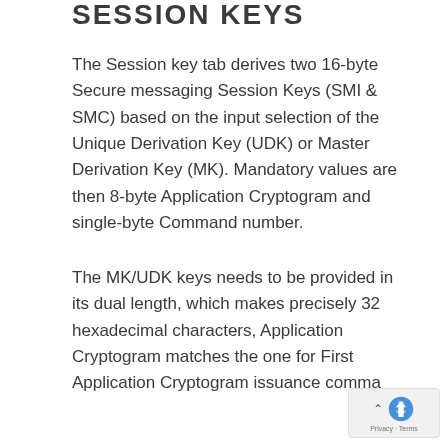SESSION KEYS
The Session key tab derives two 16-byte Secure messaging Session Keys (SMI & SMC) based on the input selection of the Unique Derivation Key (UDK) or Master Derivation Key (MK). Mandatory values are then 8-byte Application Cryptogram and single-byte Command number.
The MK/UDK keys needs to be provided in its dual length, which makes precisely 32 hexadecimal characters, Application Cryptogram matches the one for First Application Cryptogram issuance command. Command number is provided to...